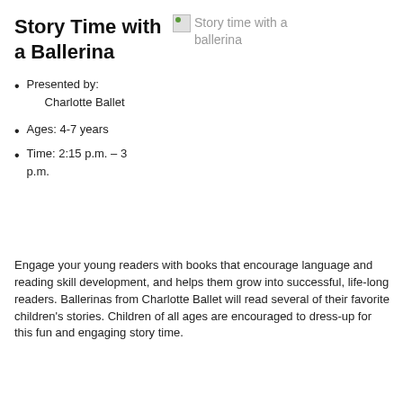Story Time with a Ballerina
[Figure (photo): Broken image placeholder labeled 'Story time with a ballerina']
Presented by:
Charlotte Ballet
Ages: 4-7 years
Time: 2:15 p.m. – 3 p.m.
Engage your young readers with books that encourage language and reading skill development, and helps them grow into successful, life-long readers. Ballerinas from Charlotte Ballet will read several of their favorite children's stories. Children of all ages are encouraged to dress-up for this fun and engaging story time.